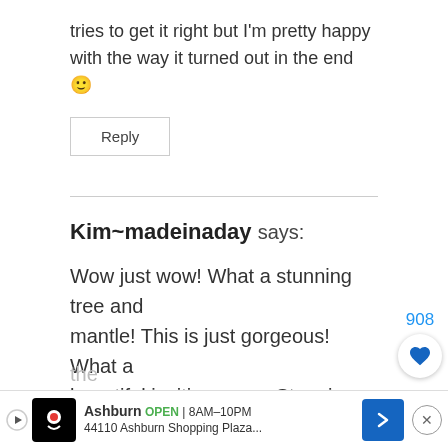tries to get it right but I'm pretty happy with the way it turned out in the end 🙂
Reply
Kim~madeinaday says:
Wow just wow! What a stunning tree and mantle! This is just gorgeous! What a beautiful inviting room. Stopping by from
[Figure (other): Advertisement banner: Ashburn OPEN 8AM-10PM, 44110 Ashburn Shopping Plaza...]
the